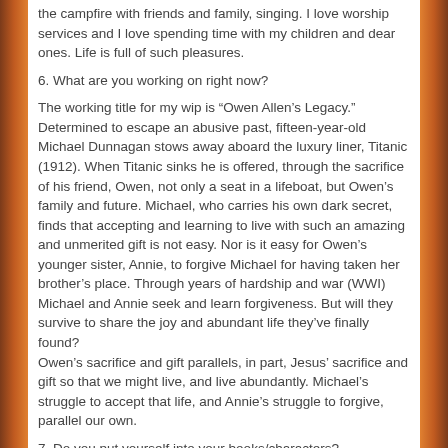the campfire with friends and family, singing. I love worship services and I love spending time with my children and dear ones. Life is full of such pleasures.
6. What are you working on right now?
The working title for my wip is “Owen Allen’s Legacy.” Determined to escape an abusive past, fifteen-year-old Michael Dunnagan stows away aboard the luxury liner, Titanic (1912). When Titanic sinks he is offered, through the sacrifice of his friend, Owen, not only a seat in a lifeboat, but Owen’s family and future. Michael, who carries his own dark secret, finds that accepting and learning to live with such an amazing and unmerited gift is not easy. Nor is it easy for Owen’s younger sister, Annie, to forgive Michael for having taken her brother’s place. Through years of hardship and war (WWI) Michael and Annie seek and learn forgiveness. But will they survive to share the joy and abundant life they’ve finally found?
Owen’s sacrifice and gift parallels, in part, Jesus’ sacrifice and gift so that we might live, and live abundantly. Michael’s struggle to accept that life, and Annie’s struggle to forgive, parallel our own.
7. Do you put yourself into your books/characters?
No. Maybe sometimes. More often my characters experience